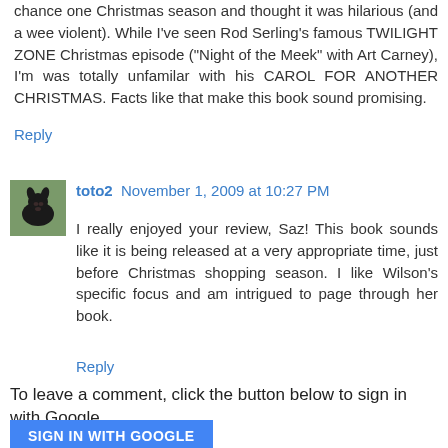chance one Christmas season and thought it was hilarious (and a wee violent). While I've seen Rod Serling's famous TWILIGHT ZONE Christmas episode ("Night of the Meek" with Art Carney), I'm was totally unfamilar with his CAROL FOR ANOTHER CHRISTMAS. Facts like that make this book sound promising.
Reply
toto2  November 1, 2009 at 10:27 PM
[Figure (photo): Small square avatar photo of a black dog on a green background]
I really enjoyed your review, Saz! This book sounds like it is being released at a very appropriate time, just before Christmas shopping season. I like Wilson's specific focus and am intrigued to page through her book.
Reply
To leave a comment, click the button below to sign in with Google.
SIGN IN WITH GOOGLE